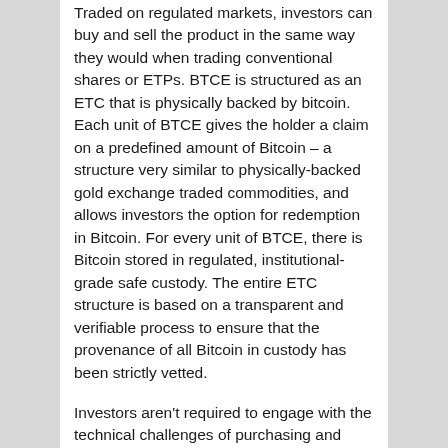Traded on regulated markets, investors can buy and sell the product in the same way they would when trading conventional shares or ETPs. BTCE is structured as an ETC that is physically backed by bitcoin. Each unit of BTCE gives the holder a claim on a predefined amount of Bitcoin – a structure very similar to physically-backed gold exchange traded commodities, and allows investors the option for redemption in Bitcoin. For every unit of BTCE, there is Bitcoin stored in regulated, institutional-grade safe custody. The entire ETC structure is based on a transparent and verifiable process to ensure that the provenance of all Bitcoin in custody has been strictly vetted.
Investors aren't required to engage with the technical challenges of purchasing and storing Bitcoin such as setting up a cryptocurrency wallet or trading on unregulated crypto exchanges and there is no need to manage cryptographic keys or engage with blockchain technology. Units of